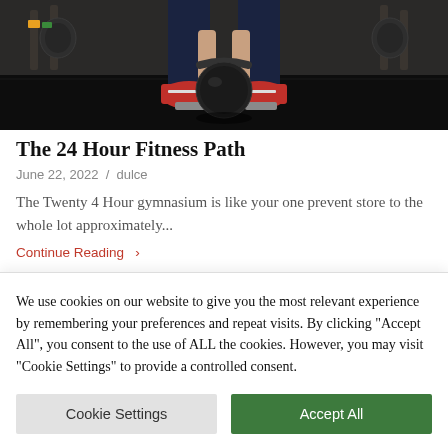[Figure (photo): Gym/fitness photo showing a person from the waist down holding a kettlebell, wearing red sneakers, standing on a dark gym floor with gym equipment in the background]
The 24 Hour Fitness Path
June 22, 2022 / dulce
The Twenty 4 Hour gymnasium is like your one prevent store to the whole lot approximately...
Continue Reading →
We use cookies on our website to give you the most relevant experience by remembering your preferences and repeat visits. By clicking "Accept All", you consent to the use of ALL the cookies. However, you may visit "Cookie Settings" to provide a controlled consent.